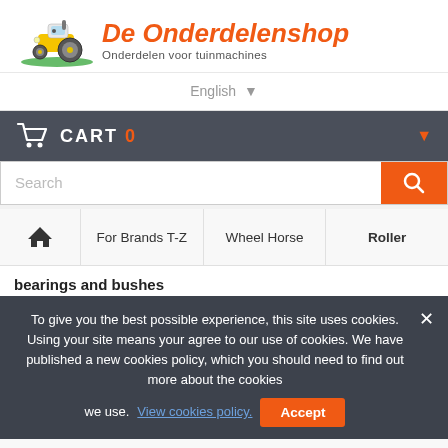[Figure (logo): De Onderdelenshop logo with tractor illustration, orange italic text 'De Onderdelenshop' and subtitle 'Onderdelen voor tuinmachines']
English ▾
CART 0
Search
🏠 | For Brands T-Z | Wheel Horse | Roller
bearings and bushes
To give you the best possible experience, this site uses cookies. Using your site means your agree to our use of cookies. We have published a new cookies policy, which you should need to find out more about the cookies we use. View cookies policy. Accept
ROLLER BEARING...